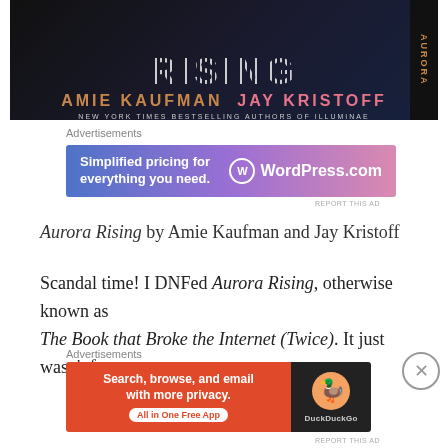[Figure (illustration): Book cover of Aurora Rising by Amie Kaufman and Jay Kristoff, black background with stylized geometric title text, authors names in orange/pink, subtitle 'New York Times Bestselling Authors of Illuminae']
Advertisements
[Figure (illustration): WordPress.com advertisement banner with blue-to-pink gradient. Text: 'Simplified pricing for everything you need.' WordPress.com logo on right.]
REPORT THIS AD
Aurora Rising by Amie Kaufman and Jay Kristoff
Scandal time! I DNFed Aurora Rising, otherwise known as The Book that Broke the Internet (Twice). It just wasn't for
Advertisements
[Figure (illustration): DuckDuckGo advertisement banner. Orange section: 'Search, browse, and email with more privacy. All in One Free App'. Black section with DuckDuckGo logo.]
REPORT THIS AD